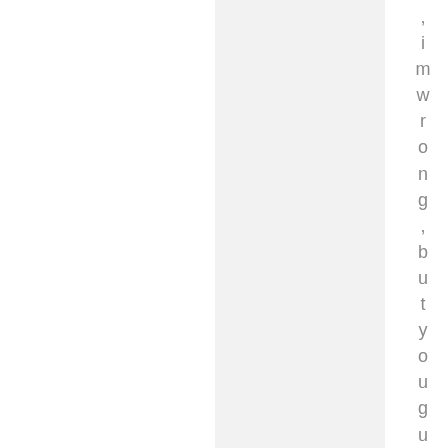[Figure (other): Gray vertical panel on the right half of the page, with vertically arranged individual characters reading 'imwrong,buyouguysare' displayed in gray text along the right edge of the page.]